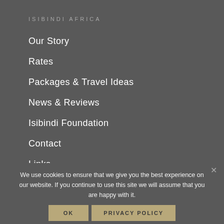ISIBINDI AFRICA
Our Story
Rates
Packages & Travel Ideas
News & Reviews
Isibindi Foundation
Contact
Links
We use cookies to ensure that we give you the best experience on our website. If you continue to use this site we will assume that you are happy with it.
Tsowa Safari Island
Thonga Beach Lodge
OK    PRIVACY POLICY